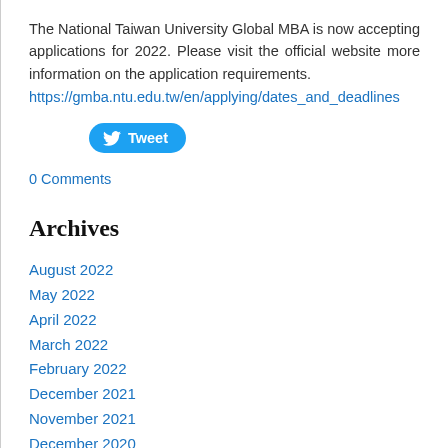The National Taiwan University Global MBA is now accepting applications for 2022. Please visit the official website more information on the application requirements.
https://gmba.ntu.edu.tw/en/applying/dates_and_deadlines
[Figure (other): Twitter Tweet button]
0 Comments
Archives
August 2022
May 2022
April 2022
March 2022
February 2022
December 2021
November 2021
December 2020
November 2020
October 2020
June 2020